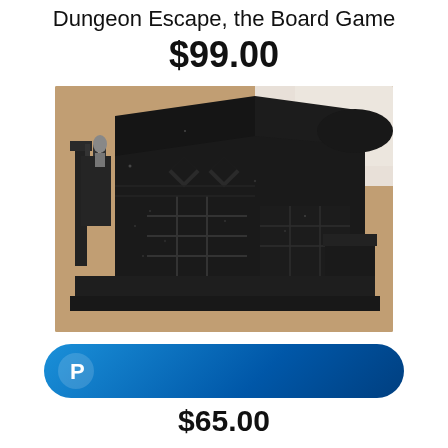Dungeon Escape, the Board Game
$99.00
[Figure (photo): 3D printed dark fantasy miniature building/dungeon terrain piece with multiple floors, windows, fence details, and a small character figure on top, photographed on a tan/cork surface]
[Figure (other): PayPal payment button - blue rounded pill shape with white PayPal P logo]
$65.00